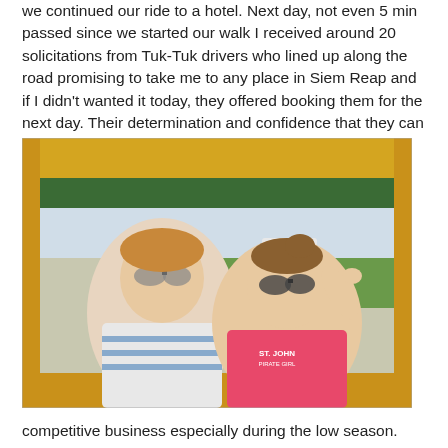we continued our ride to a hotel. Next day, not even 5 min passed since we started our walk I received around 20 solicitations from Tuk-Tuk drivers who lined up along the road promising to take me to any place in Siem Reap and if I didn't wanted it today, they offered booking them for the next day. Their determination and confidence that they can get your business only if they keep asking and following you still amazes me. It is quite a
[Figure (photo): Two women sitting inside a Tuk-Tuk vehicle, smiling. One is wearing a white top with blue stripes, the other is wearing a pink T-shirt with 'ST. JOHN PIRATE GIRL' text. The vehicle has a yellow and green canopy. A street with trees and vehicles is visible in the background.]
competitive business especially during the low season.
Back in my home country, Kazakhstan, people drive horribly (many just